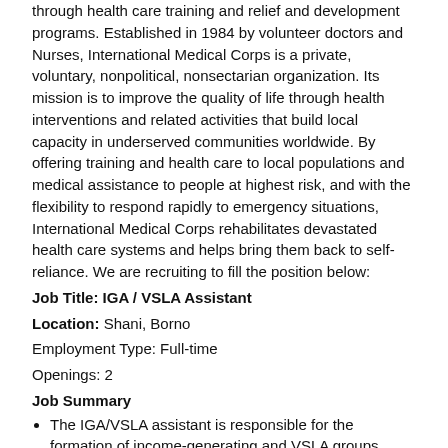through health care training and relief and development programs. Established in 1984 by volunteer doctors and Nurses, International Medical Corps is a private, voluntary, nonpolitical, nonsectarian organization. Its mission is to improve the quality of life through health interventions and related activities that build local capacity in underserved communities worldwide. By offering training and health care to local populations and medical assistance to people at highest risk, and with the flexibility to respond rapidly to emergency situations, International Medical Corps rehabilitates devastated health care systems and helps bring them back to self-reliance. We are recruiting to fill the position below:
Job Title: IGA / VSLA Assistant
Location: Shani, Borno
Employment Type: Full-time
Openings: 2
Job Summary
The IGA/VSLA assistant is responsible for the formation of income-generating and VSLA groups, training, mentoring and monitoring of these groups in the Nutrition, Livelihoods and Resilience project in Shani LGA.
The IGA/VSLA assistant will technically be supervised and supported by the IGA/VSLA Officer.
Main Responsibilities
Technically lead in mobilization and establishment of VSLA and IGA